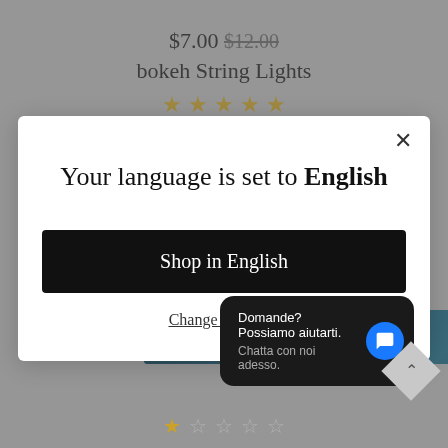$7.00 $12.00
bokeh String Lights
[Figure (screenshot): Five gold star rating]
[Figure (screenshot): Language selection modal dialog with title 'Your language is set to English', a black 'Shop in English' button, and a 'Change language' link. Has an X close button in the top right.]
Domande? Possiamo aiutarti.
Chatta con noi adesso.